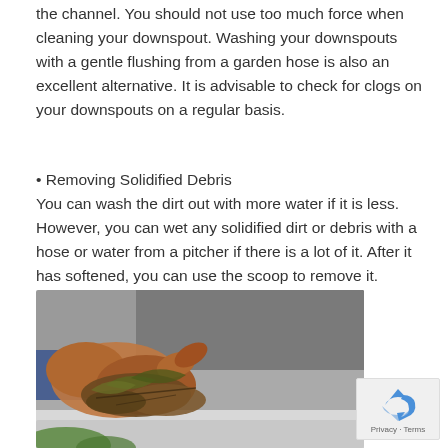the channel. You should not use too much force when cleaning your downspout. Washing your downspouts with a gentle flushing from a garden hose is also an excellent alternative. It is advisable to check for clogs on your downspouts on a regular basis.
• Removing Solidified Debris
You can wash the dirt out with more water if it is less. However, you can wet any solidified dirt or debris with a hose or water from a pitcher if there is a lot of it. After it has softened, you can use the scoop to remove it.
[Figure (photo): A gloved hand removing debris and leaves from a rain gutter/downspout channel.]